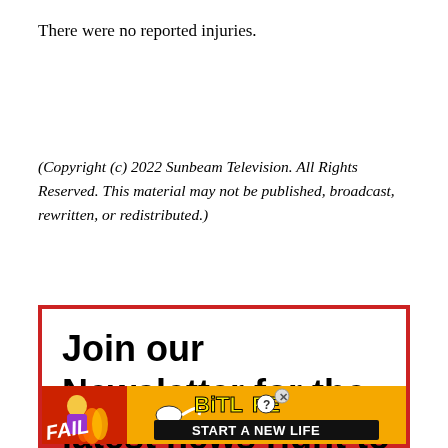There were no reported injuries.
(Copyright (c) 2022 Sunbeam Television. All Rights Reserved. This material may not be published, broadcast, rewritten, or redistributed.)
[Figure (infographic): Newsletter signup advertisement box with red border. Text reads: Join our Newsletter for the latest news right to your inbox. Contains BitLife game ad banner at bottom with FAIL text, animated character, flames, BitLife logo, and START A NEW LIFE tagline.]